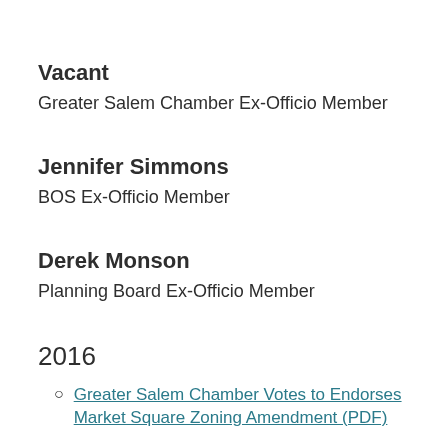Vacant
Greater Salem Chamber Ex-Officio Member
Jennifer Simmons
BOS Ex-Officio Member
Derek Monson
Planning Board Ex-Officio Member
2016
Greater Salem Chamber Votes to Endorses Market Square Zoning Amendment (PDF)